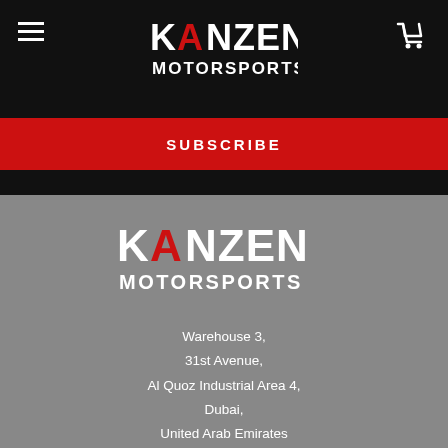[Figure (logo): Kanzen Motorsports logo in top navigation bar on black background]
SUBSCRIBE
[Figure (logo): Kanzen Motorsports large logo on gray background in footer section]
Warehouse 3,
31st Avenue,
Al Quoz Industrial Area 4,
Dubai,
United Arab Emirates
Call us at +971 4 341 2838